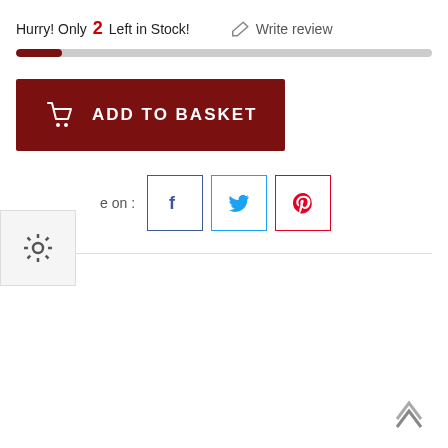Hurry! Only 2 Left in Stock!
Write review
[Figure (other): Progress bar showing stock level, approximately 11% filled in dark red]
[Figure (other): Add to Basket button, dark red background with white shopping cart icon and text ADD TO BASKET]
e on :
[Figure (other): Facebook share button with blue F icon in bordered square]
[Figure (other): Twitter share button with blue bird icon in bordered square]
[Figure (other): Pinterest share button with red P icon in bordered square]
[Figure (other): Settings gear icon widget on left edge]
[Figure (other): Back to top chevron arrow at bottom right]